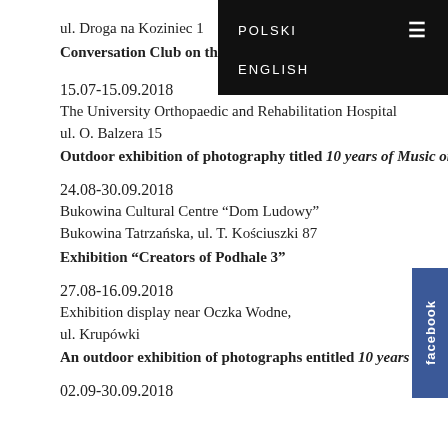ul. Droga na Koziniec 1
Conversation Club on the Heights
POLSKI  ENGLISH
15.07-15.09.2018
The University Orthopaedic and Rehabilitation Hospital
ul. O. Balzera 15
Outdoor exhibition of photography titled 10 years of Music on the Heights, part 1
24.08-30.09.2018
Bukowina Cultural Centre “Dom Ludowy”
Bukowina Tatrzańska, ul. T. Kościuszki 87
Exhibition “Creators of Podhale 3”
27.08-16.09.2018
Exhibition display near Oczka Wodne,
ul. Krupówki
An outdoor exhibition of photographs entitled 10 years of Music on the Heights, part II
02.09-30.09.2018